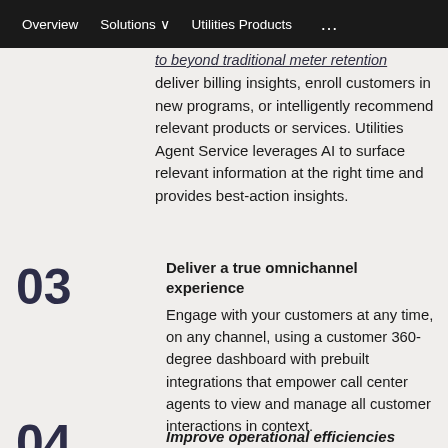Overview   Solutions   Utilities Products   ...
to beyond traditional meter retention deliver billing insights, enroll customers in new programs, or intelligently recommend relevant products or services. Utilities Agent Service leverages AI to surface relevant information at the right time and provides best-action insights.
03 Deliver a true omnichannel experience
Engage with your customers at any time, on any channel, using a customer 360-degree dashboard with prebuilt integrations that empower call center agents to view and manage all customer interactions in context.
IDC names Oracle a leader in Utility Customer Engagement and Experience
04 Improve operational efficiencies